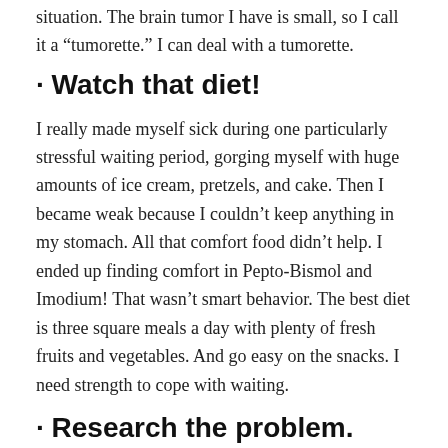situation. The brain tumor I have is small, so I call it a “tumorette.” I can deal with a tumorette.
· Watch that diet!
I really made myself sick during one particularly stressful waiting period, gorging myself with huge amounts of ice cream, pretzels, and cake. Then I became weak because I couldn’t keep anything in my stomach. All that comfort food didn’t help. I ended up finding comfort in Pepto-Bismol and Imodium! That wasn’t smart behavior. The best diet is three square meals a day with plenty of fresh fruits and vegetables. And go easy on the snacks. I need strength to cope with waiting.
· Research the problem.